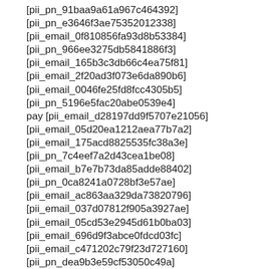[pii_pn_91baa9a61a967c464392]
[pii_pn_e3646f3ae75352012338]
[pii_email_0f810856fa93d8b53384]
[pii_pn_966ee3275db5841886f3]
[pii_email_165b3c3db66c4ea75f81]
[pii_email_2f20ad3f073e6da890b6]
[pii_email_0046fe25fd8fcc4305b5]
[pii_pn_5196e5fac20abe0539e4]
pay [pii_email_d28197dd9f5707e21056]
[pii_email_05d20ea1212aea77b7a2]
[pii_email_175acd8825535fc38a3e]
[pii_pn_7c4eef7a2d43cea1be08]
[pii_email_b7e7b73da85adde88402]
[pii_pn_0ca8241a0728bf3e57ae]
[pii_email_ac863aa329da73820796]
[pii_email_037d07812f905a3927ae]
[pii_email_05cd53e2945d61b0ba03]
[pii_email_696d9f3abce0fdcd03fc]
[pii_email_c471202c79f23d727160]
[pii_pn_dea9b3e59cf53050c49a]
[pii_email_75fc74322a67adefe918]
[pii_pn_b4dc8db74d84cba7]